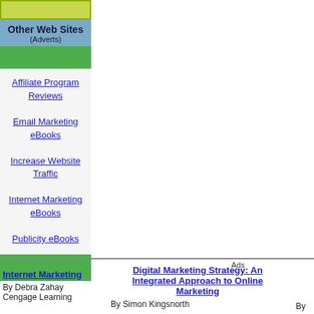Other Web Sites
(Adverts)
Affiliate Program Reviews
Email Marketing eBooks
Increase Website Traffic
Internet Marketing eBooks
Publicity eBooks
Ads
Internet Marketing
By Debra Zahay
Cengage Learning
Digital Marketing Strategy: An Integrated Approach to Online Marketing
By Simon Kingsnorth
By